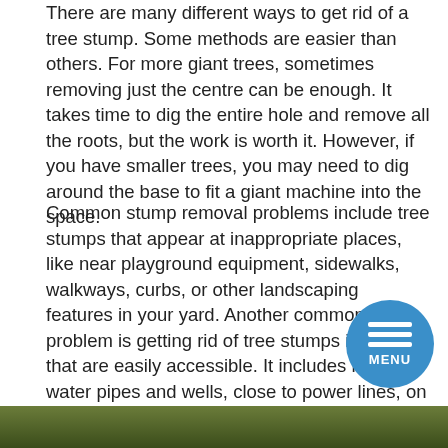There are many different ways to get rid of a tree stump. Some methods are easier than others. For more giant trees, sometimes removing just the centre can be enough. It takes time to dig the entire hole and remove all the roots, but the work is worth it. However, if you have smaller trees, you may need to dig around the base to fit a giant machine into the space.
Common stump removal problems include tree stumps that appear at inappropriate places, like near playground equipment, sidewalks, walkways, curbs, or other landscaping features in your yard. Another common problem is getting rid of tree stumps in areas that are easily accessible. It includes near water pipes and wells, close to power lines, on lawns where vehicles are parked, or anywhere else that you may try to access. There are many reasons why this happens, but the main reason behind it is simply people.
[Figure (photo): A partial image strip at the bottom of the page showing a green outdoor/nature scene, partially obscured.]